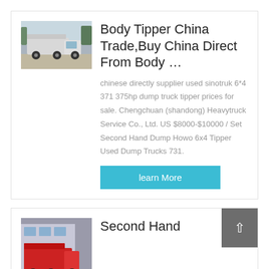[Figure (photo): White/silver dump truck tipper vehicle parked outdoors]
Body Tipper China Trade,Buy China Direct From Body …
chinese directly supplier used sinotruk 6*4 371 375hp dump truck tipper prices for sale. Chengchuan (shandong) Heavytruck Service Co., Ltd. US $8000-$10000 / Set Second Hand Dump Howo 6x4 Tipper Used Dump Trucks 731.
learn More
[Figure (photo): Red dump truck parked near a building]
Second Hand